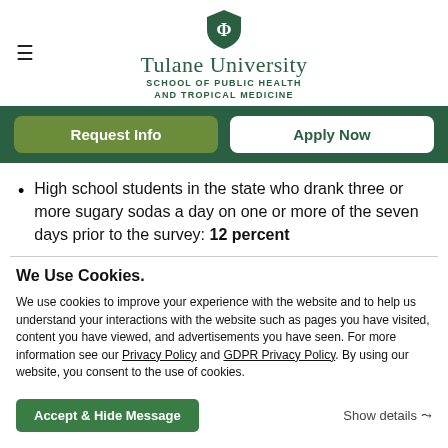Tulane University School of Public Health and Tropical Medicine
Request Info | Apply Now
High school students in the state who drank three or more sugary sodas a day on one or more of the seven days prior to the survey: 12 percent
We Use Cookies.
We use cookies to improve your experience with the website and to help us understand your interactions with the website such as pages you have visited, content you have viewed, and advertisements you have seen. For more information see our Privacy Policy and GDPR Privacy Policy. By using our website, you consent to the use of cookies.
Accept & Hide Message | Show details